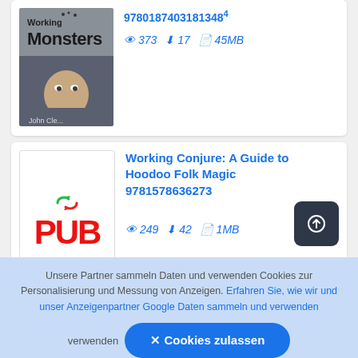[Figure (screenshot): Book listing card (top, partial): book cover showing 'Monsters' with an old man's face, by John Cleese. ISBN partially visible, stats: 373 views, 17 downloads, 45MB.]
373  17  45MB
[Figure (screenshot): Book listing card: ePub format cover with red PUB text and green arrow icon. Title: Working Conjure: A Guide to Hoodoo Folk Magic 9781578636273. Stats: 249 views, 42 downloads, 1MB. Upload button top-right.]
Working Conjure: A Guide to Hoodoo Folk Magic 9781578636273
249  42  1MB
Unsere Partner sammeln Daten und verwenden Cookies zur Personalisierung und Messung von Anzeigen. Erfahren Sie, wie wir und unser Anzeigenpartner Google Daten sammeln und verwenden
✕ Cookies zulassen